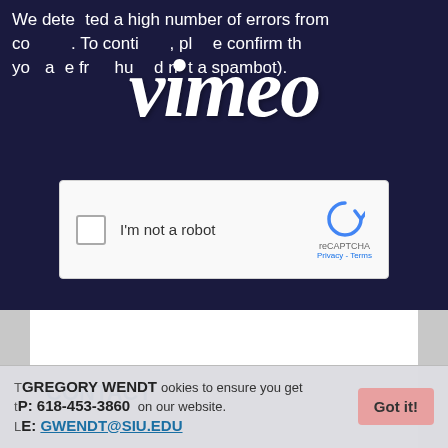[Figure (screenshot): Vimeo error/CAPTCHA page screenshot showing dark navy background with 'We detected a high number of errors from your connection. To continue, please confirm that you are a human (and not a spambot).' text and a reCAPTCHA checkbox widget, overlaid with the Vimeo logo.]
CONTACT
GREGORY WENDT
P: 618-453-3860
E: GWENDT@SIU.EDU
This website uses cookies to ensure you get the best experience on our website. Learn more
Got it!